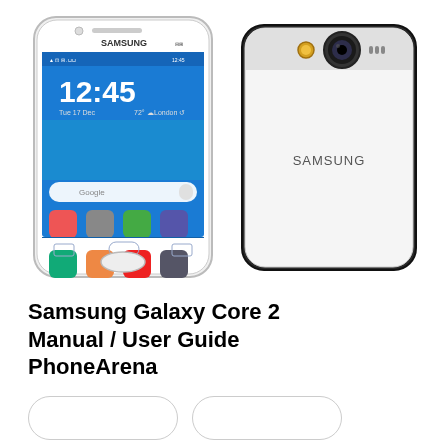[Figure (photo): Samsung Galaxy Core 2 smartphone shown from front (left) displaying home screen with time 12:45 and app icons, and from back (right) showing camera and Samsung logo, both in white color.]
Samsung Galaxy Core 2 Manual / User Guide PhoneArena